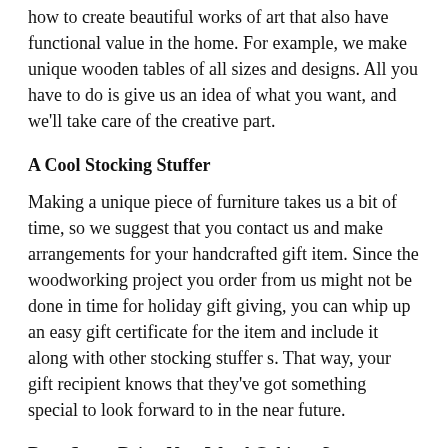how to create beautiful works of art that also have functional value in the home. For example, we make unique wooden tables of all sizes and designs. All you have to do is give us an idea of what you want, and we'll take care of the creative part.
A Cool Stocking Stuffer
Making a unique piece of furniture takes us a bit of time, so we suggest that you contact us and make arrangements for your handcrafted gift item. Since the woodworking project you order from us might not be done in time for holiday gift giving, you can whip up an easy gift certificate for the item and include it along with other stocking stuffer s. That way, your gift recipient knows that they've got something special to look forward to in the near future.
Does Santa Bring New Wood Cabinets?
Why sure he does.